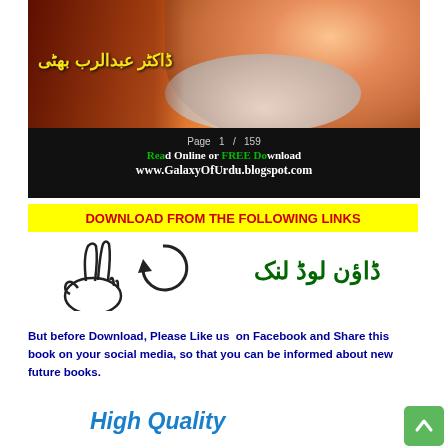[Figure (photo): Book cover showing an elderly man's face with beard, Urdu text in yellow reading author name, black bar at bottom with green text 'Read Online or FREE Download' and white text 'www.GalaxyOfUrdu.blogspot.com', page indicator showing 'Page 1 / 159']
DOWNLOAD FROM THE FOLLOWING LINKS
[Figure (illustration): Hand-drawn icons showing a peace sign hand gesture and a circular arrow/download symbol]
[Figure (illustration): Urdu text in dark green reading download link (ڈاؤن لوڈ لنک)]
But before Download, Please Like us  on Facebook and Share this book on your social media, so that you can be informed about new future books.
High Quality